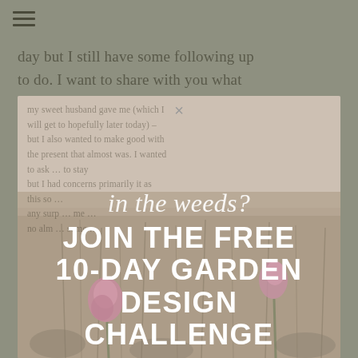[Figure (screenshot): Hamburger menu icon (three horizontal lines) in the top-left corner of the page, dark olive/grey color on a muted sage background]
day but I still have some following up to do. I want to share with you what my sweet husband gave me (which I will get to hopefully later today) – but I also wanted to make good with the present that almost was. I wanted to ask … to stay but I had concerns primarily … this so … any surp … no alm …
[Figure (infographic): Overlay card/popup on a meadow background with pink/purple wildflowers. Contains faded body text behind, a close (×) button at top, italic script text 'in the weeds?' and bold uppercase text 'JOIN THE FREE 10-DAY GARDEN DESIGN CHALLENGE']